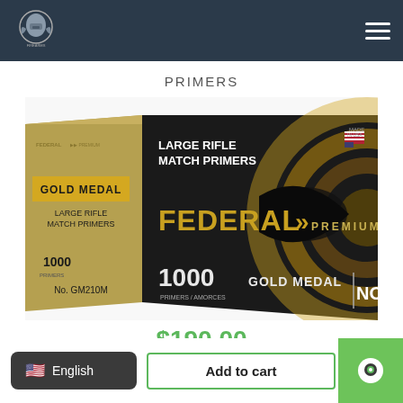Navigation header with logo and menu icon
PRIMERS
[Figure (photo): Federal Premium Gold Medal Large Rifle Match Primers, box of 1000, model GM210M, shown at an angle with gold and black packaging.]
$190.00
English
Add to cart